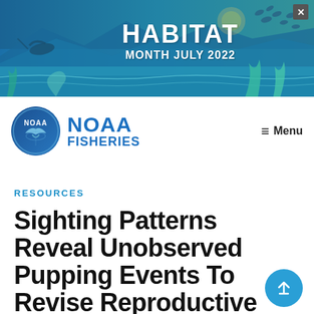[Figure (illustration): NOAA Habitat Month July 2022 banner with ocean/nature illustrated background in blue and teal tones, birds and fish, with a close (X) button in the top right corner]
[Figure (logo): NOAA Fisheries logo: circular NOAA emblem with a bird/globe design next to bold blue text reading NOAA FISHERIES]
≡ Menu
RESOURCES
Sighting Patterns Reveal Unobserved Pupping Events To Revise Reproductive Rate Estimates for